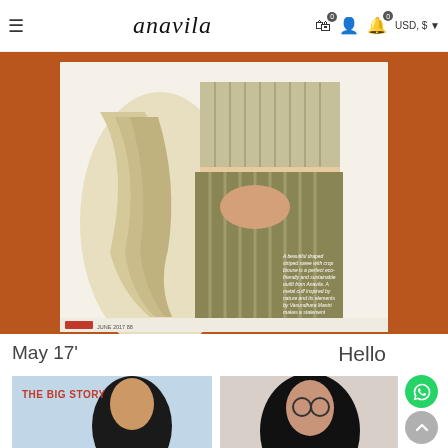anavila — navigation bar with cart (0), user, wishlist (0), USD $ currency selector
[Figure (photo): Editorial fashion photo of a woman wearing a striped saree with a crop blouse, on a warm orange-brown background. Overlaid text reads: 'A beautiful draped striped saree with crop blouse is a perfect eco-friendly and sustainable outfit from Anavila. A metal cuff inspired by nature and its elements by Vasundhara Mantri makes a statement.' Footer shows red publication logo and 'JUNE 2017 88'.]
May 17'
Hello
[Figure (photo): Thumbnail image with red bold text 'THE BIG STORY' and a woman's face partially visible, with light blue-grey tones.]
[Figure (photo): Thumbnail image of a woman wearing round glasses against a light background.]